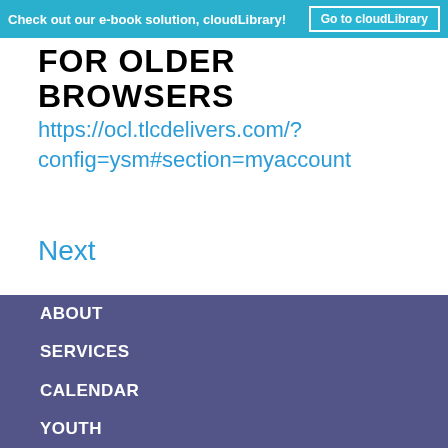Check out our e-book solution, cloudLibrary!  Go to cloudLibrary
FOR OLDER BROWSERS
https://ocl.tlcdelivers.com/?config=ysm#section=myaccount
Next
ABOUT
SERVICES
CALENDAR
YOUTH